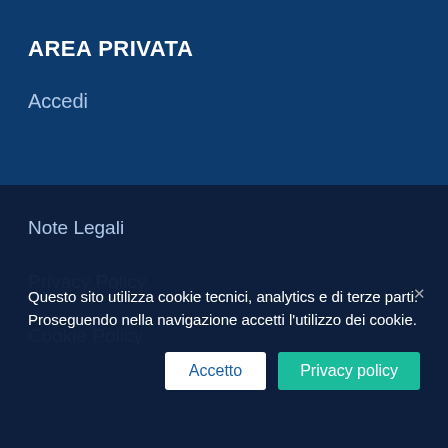AREA PRIVATA
Accedi
Note Legali
Privacy Policy
Cookie Policy
Questo sito utilizza cookie tecnici, analytics e di terze parti. Proseguendo nella navigazione accetti l'utilizzo dei cookie.
Accetto
Privacy policy